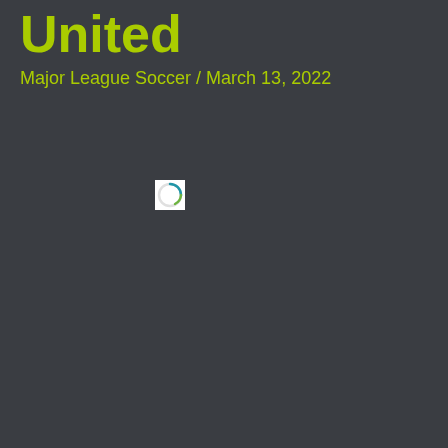United
Major League Soccer / March 13, 2022
[Figure (logo): A small circular loading/spinner icon with blue and green colors on a white square background]